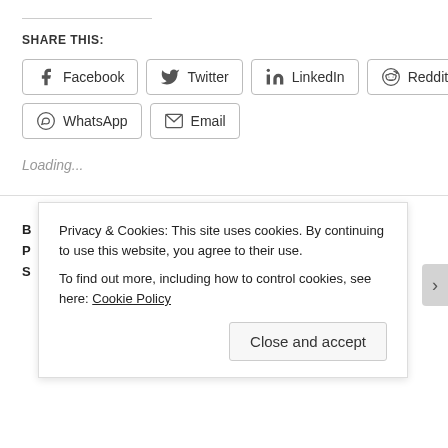SHARE THIS:
Facebook  Twitter  LinkedIn  Reddit  WhatsApp  Email
Loading...
Privacy & Cookies: This site uses cookies. By continuing to use this website, you agree to their use. To find out more, including how to control cookies, see here: Cookie Policy
Close and accept